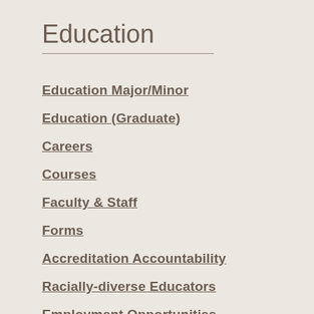Education
Education Major/Minor
Education (Graduate)
Careers
Courses
Faculty & Staff
Forms
Accreditation Accountability
Racially-diverse Educators
Employment Opportunities